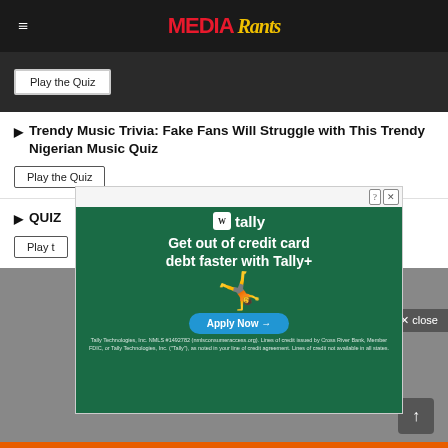MEDIA Rants
[Figure (screenshot): Dark background image with 'Play the Quiz' button]
▶ Trendy Music Trivia: Fake Fans Will Struggle with This Trendy Nigerian Music Quiz
Play the Quiz
× close
▶ QUIZ ... his Lyric...
Play t...
[Figure (infographic): Tally advertisement: 'Get out of credit card debt faster with Tally+' with Apply Now button. Tally Technologies, Inc. NMLS #1492782 (nmlsconsumeraccess.org). Lines of credit issued by Cross River Bank, Member FDIC, or Tally Technologies, Inc. ('Tally'), as noted in your line of credit agreement. Lines of credit not available in all states.]